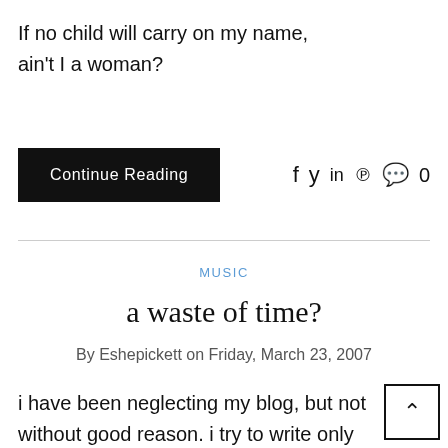If no child will carry on my name, ain't I a woman?
Continue Reading
f y in p 0
MUSIC
a waste of time?
By Eshepickett on Friday, March 23, 2007
i have been neglecting my blog, but not without good reason. i try to write only when i feel that i something remotely interesting to share, althou